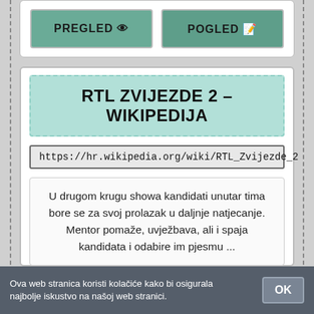[Figure (screenshot): Two buttons: PREGLED with eye icon and POGLED with external link icon, both on teal/green background]
RTL ZVIJEZDE 2 – WIKIPEDIJA
https://hr.wikipedia.org/wiki/RTL_Zvijezde_2
U drugom krugu showa kandidati unutar tima bore se za svoj prolazak u daljnje natjecanje. Mentor pomaže, uvježbava, ali i spaja kandidata i odabire im pjesmu ...
ONLINE
Ova web stranica koristi kolačiće kako bi osigurala najbolje iskustvo na našoj web stranici.